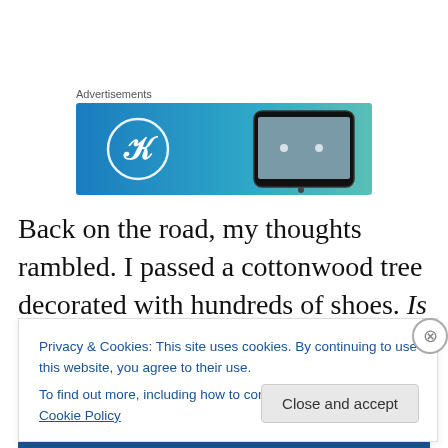Advertisements
[Figure (screenshot): WordPress advertisement banner with blue gradient background, WordPress logo (W in circle) on left, and a smartphone on the right.]
Back on the road, my thoughts rambled. I passed a cottonwood tree decorated with hundreds of shoes. Is this what people in the desert do to have a good time? I wondered, considering what it would be like to be stranded in the desert. Maybe I'd find a stray dog. Through the dry
Privacy & Cookies: This site uses cookies. By continuing to use this website, you agree to their use.
To find out more, including how to control cookies, see here: Cookie Policy